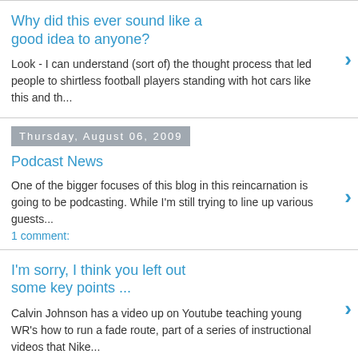Why did this ever sound like a good idea to anyone?
Look - I can understand (sort of) the thought process that led people to shirtless football players standing with hot cars like this and th...
Thursday, August 06, 2009
Podcast News
One of the bigger focuses of this blog in this reincarnation is going to be podcasting. While I'm still trying to line up various guests...
1 comment:
I'm sorry, I think you left out some key points ...
Calvin Johnson has a video up on Youtube teaching young WR's how to run a fade route, part of a series of instructional videos that Nike...